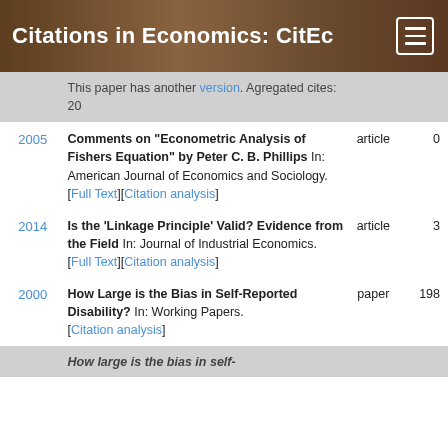Citations in Economics: CitEc
| Year | Description | Type | Cites |
| --- | --- | --- | --- |
|  | This paper has another version. Agregated cites: 20 |  |  |
| 2005 | Comments on “Econometric Analysis of Fishers Equation” by Peter C. B. Phillips In: American Journal of Economics and Sociology. [Full Text][Citation analysis] | article | 0 |
| 2014 | Is the ‘Linkage Principle’ Valid? Evidence from the Field In: Journal of Industrial Economics. [Full Text][Citation analysis] | article | 3 |
| 2000 | How Large is the Bias in Self-Reported Disability? In: Working Papers. [Citation analysis] | paper | 198 |
|  | How large is the bias in self-... |  |  |